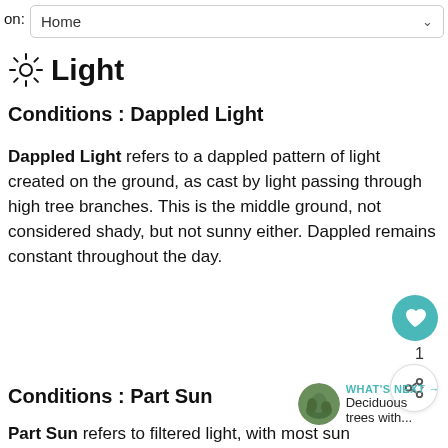on: Home
☀ Light
Conditions : Dappled Light
Dappled Light refers to a dappled pattern of light created on the ground, as cast by light passing through high tree branches. This is the middle ground, not considered shady, but not sunny either. Dappled remains constant throughout the day.
Conditions : Part Sun
Part Sun refers to filtered light, with most sun